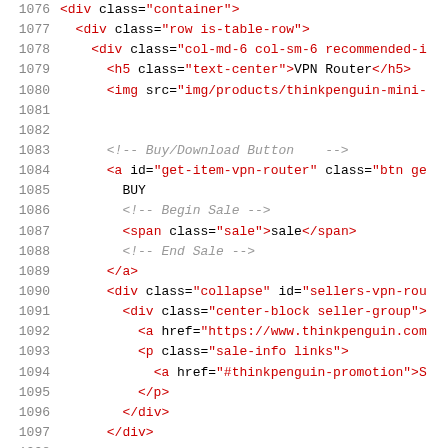[Figure (screenshot): Code editor screenshot showing HTML source code with line numbers 1076-1107. Lines display HTML markup with red-colored tags and black plain text, on a white background. Code includes div elements with Bootstrap classes, img tags, anchor tags, script tags, and noscript sections from a webpage about VPN Router products.]